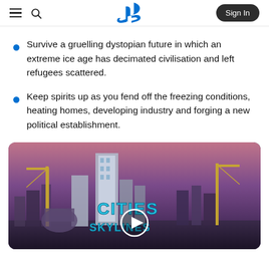PlayStation store header with hamburger menu, search icon, PlayStation logo, and Sign In button
Survive a gruelling dystopian future in which an extreme ice age has decimated civilisation and left refugees scattered.
Keep spirits up as you fend off the freezing conditions, heating homes, developing industry and forging a new political establishment.
[Figure (screenshot): Cities: Skylines game video thumbnail showing city skyline with cranes and the Cities Skylines logo with a play button overlay]